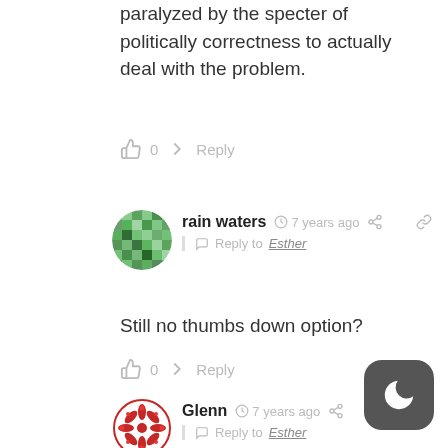paralyzed by the specter of politically correctness to actually deal with the problem.
👍 0  ➤ Reply
[Figure (illustration): Green pixel/mosaic pattern avatar circle for user rain waters]
rain waters  🕐 7 years ago  🔗  Reply to Esther
Still no thumbs down option?
👍 0  ➤ Reply
[Figure (illustration): Red and white geometric/floral pixel pattern avatar circle for user Glenn]
Glenn  🕐 7 years ago  🔗  Reply to Esther
Once while fixing MY BIKE on a public street in Portland, someone accused me of being in the process of stealing it. He seemed pretty sure of himself. Maybe he
[Figure (illustration): Dark grey rounded square button with white crescent moon icon (dark mode toggle)]